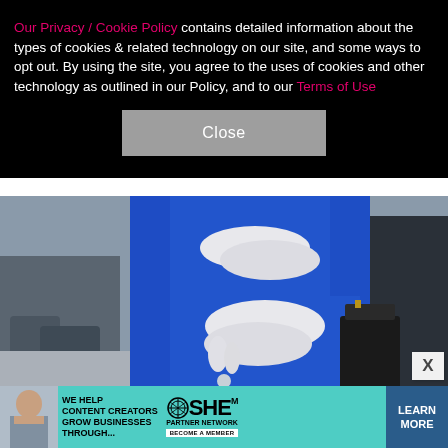Our Privacy / Cookie Policy contains detailed information about the types of cookies & related technology on our site, and some ways to opt out. By using the site, you agree to the uses of cookies and other technology as outlined in our Policy, and to our Terms of Use
[Figure (photo): Person wearing a bright royal blue coat with decorative buttons and white gloves, holding a dark handbag. Only the torso and hands are visible. Background is blurred grey/neutral tones.]
[Figure (infographic): Advertisement banner: teal/turquoise background. Left: photo of a woman. Center text: 'WE HELP CONTENT CREATORS GROW BUSINESSES THROUGH...'. SHE Media Partner Network logo with 'BECOME A MEMBER'. Right: dark blue button 'LEARN MORE'.]